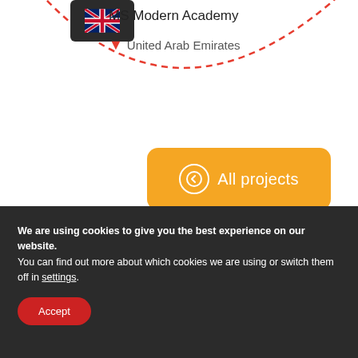[Figure (illustration): UK flag icon in dark rounded box, followed by school name 'MS Modern Academy' and location 'United Arab Emirates' with red pin icon, with a red dashed arc in the background]
[Figure (other): Orange rounded button with left-arrow circle icon and text 'All projects']
We are using cookies to give you the best experience on our website.
You can find out more about which cookies we are using or switch them off in settings.
[Figure (other): Red rounded 'Accept' button]